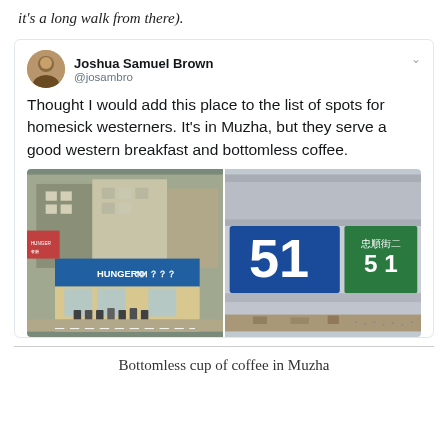it's a long walk from there).
[Figure (screenshot): A tweet by Joshua Samuel Brown (@josambro) saying: 'Thought I would add this place to the list of spots for homesick westerners. It's in Muzha, but they serve a good western breakfast and bottomless coffee.' Below the tweet text are two photos: left shows the exterior of a restaurant called HUNGER something with blue awning and motorcycles parked outside; right shows a street sign with the number 51 and Chinese characters 忠順街二 51.]
Bottomless cup of coffee in Muzha